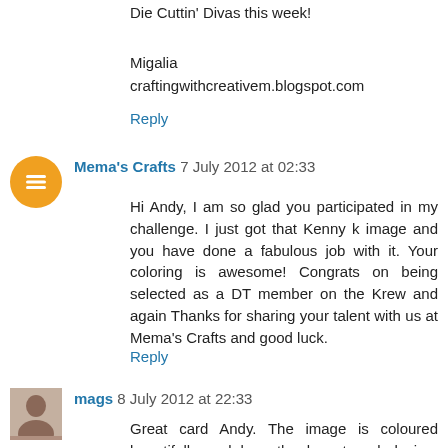Die Cuttin' Divas this week!
Migalia
craftingwithcreativem.blogspot.com
Reply
Mema's Crafts 7 July 2012 at 02:33
Hi Andy, I am so glad you participated in my challenge. I just got that Kenny k image and you have done a fabulous job with it. Your coloring is awesome! Congrats on being selected as a DT member on the Krew and again Thanks for sharing your talent with us at Mema's Crafts and good luck.
Reply
mags 8 July 2012 at 22:33
Great card Andy. The image is coloured beautifully and love the layout and design. Thanks for sharing with us at Penny's and good luck.